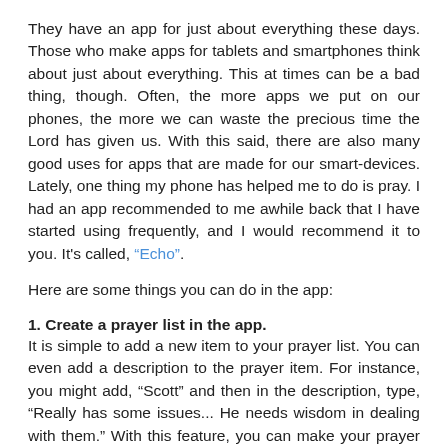They have an app for just about everything these days. Those who make apps for tablets and smartphones think about just about everything. This at times can be a bad thing, though. Often, the more apps we put on our phones, the more we can waste the precious time the Lord has given us. With this said, there are also many good uses for apps that are made for our smart-devices. Lately, one thing my phone has helped me to do is pray. I had an app recommended to me awhile back that I have started using frequently, and I would recommend it to you. It's called, “Echo”.
Here are some things you can do in the app:
1. Create a prayer list in the app. It is simple to add a new item to your prayer list. You can even add a description to the prayer item. For instance, you might add, “Scott” and then in the description, type, “Really has some issues... He needs wisdom in dealing with them.” With this feature, you can make your prayer list as in depth as you would like, and you can update it as much as you would like.
2. Create reminders to send you notifications throughout the